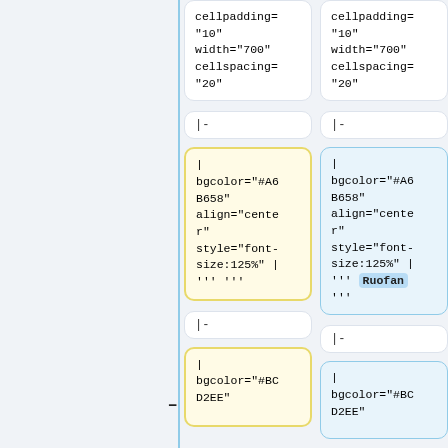cellpadding="10"
width="700"
cellspacing=
"20"
cellpadding="10"
width="700"
cellspacing=
"20"
|-
|-
|
bgcolor="#A6B658"
align="center"
style="font-size:125%" |
''' '''
|
bgcolor="#A6B658"
align="center"
style="font-size:125%" |
''' Ruofan
'''
|-
|-
|
bgcolor="#BCD2EE"
|
bgcolor="#BCD2EE"